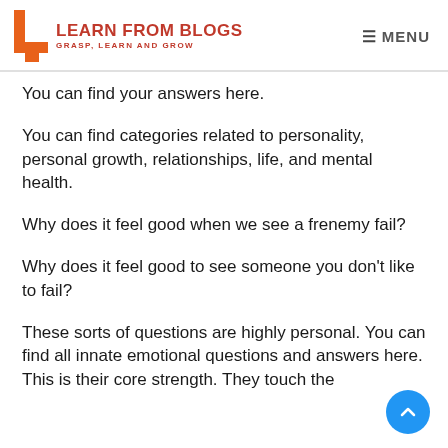LEARN FROM BLOGS — GRASP, LEARN AND GROW — MENU
You can find your answers here.
You can find categories related to personality, personal growth, relationships, life, and mental health.
Why does it feel good when we see a frenemy fail?
Why does it feel good to see someone you don't like to fail?
These sorts of questions are highly personal. You can find all innate emotional questions and answers here. This is their core strength. They touch the